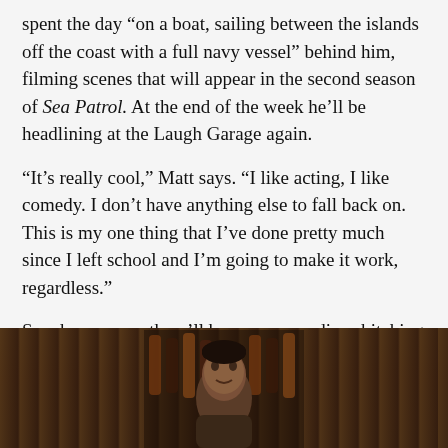spent the day âon a boat, sailing between the islands off the coast with a full navy vesselâ behind him, filming scenes that will appear in the second season of Sea Patrol. At the end of the week heâll be headlining at the Laugh Garage again.
âItâs really cool,â Matt says. âI like acting, I like comedy. I donât have anything else to fall back on. This is my one thing that Iâve done pretty much since I left school and Iâm going to make it work, regardless.â
So, chances are, thereâll be more comedians bitching about Matt Okine soon!
[Figure (photo): Photo of a man (Matt Okine) in front of a wine rack/bottle display, dark background with many wine bottles visible]